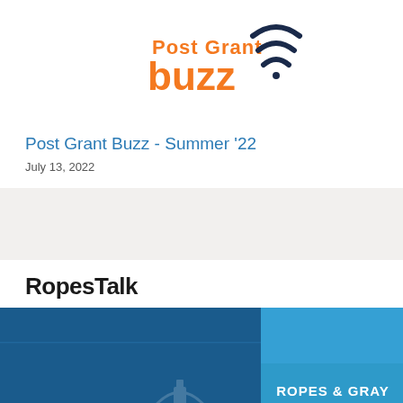[Figure (logo): Post Grant Buzz logo with orange text 'Post Grant buzz' and dark navy wifi/signal arcs on the right side]
Post Grant Buzz - Summer '22
July 13, 2022
RopesTalk
[Figure (illustration): Ropes & Gray branded banner image with dark blue background, light blue rectangle in upper right, Ropes & Gray logo text in white, and faint outline of a government building dome at the bottom center]